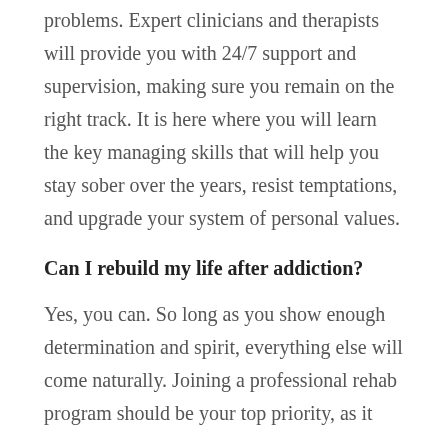problems. Expert clinicians and therapists will provide you with 24/7 support and supervision, making sure you remain on the right track. It is here where you will learn the key managing skills that will help you stay sober over the years, resist temptations, and upgrade your system of personal values.
Can I rebuild my life after addiction?
Yes, you can. So long as you show enough determination and spirit, everything else will come naturally. Joining a professional rehab program should be your top priority, as it